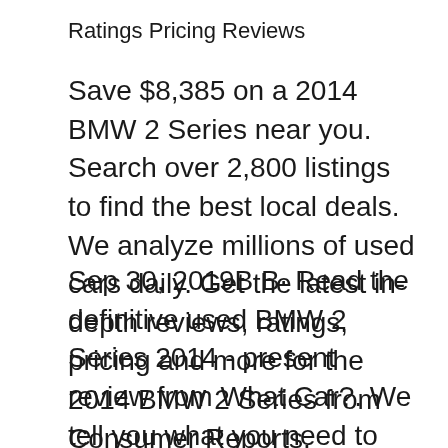Ratings Pricing Reviews
Save $8,385 on a 2014 BMW 2 Series near you. Search over 2,800 listings to find the best local deals. We analyze millions of used cars daily. Get the latest in-depth reviews, ratings, pricing and more for the 2014 BMW 2 Series from Consumer Reports.
Sep 30, 2019B B· Read the definitive used BMW 2 Series 2014 - present review from What Car?. We tell you what you need to know before you buy. Jan 21, 2014B B· Our first M235i coupe experience reveals a car that appeals to the hardest-core BMW fans. Read our review and see photos of the new 2…